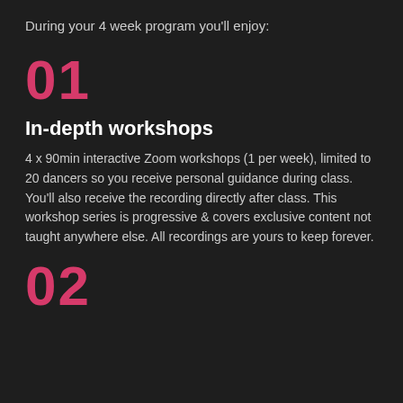During your 4 week program you'll enjoy:
01
In-depth workshops
4 x 90min interactive Zoom workshops (1 per week), limited to 20 dancers so you receive personal guidance during class. You'll also receive the recording directly after class. This workshop series is progressive & covers exclusive content not taught anywhere else. All recordings are yours to keep forever.
02